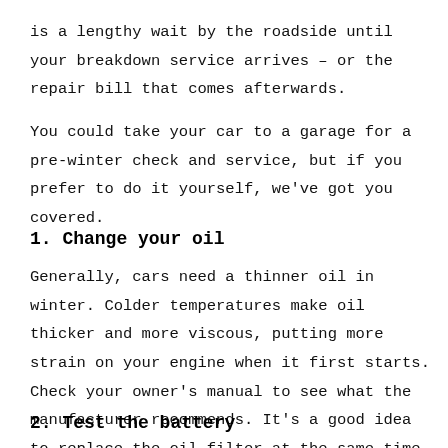is a lengthy wait by the roadside until your breakdown service arrives – or the repair bill that comes afterwards.
You could take your car to a garage for a pre-winter check and service, but if you prefer to do it yourself, we've got you covered.
1. Change your oil
Generally, cars need a thinner oil in winter. Colder temperatures make oil thicker and more viscous, putting more strain on your engine when it first starts. Check your owner's manual to see what the manufacturer recommends. It's a good idea to replace the oil filter at the same time.
2. Test the battery